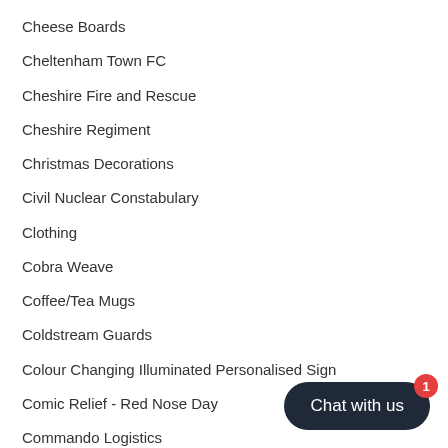Cheese Boards
Cheltenham Town FC
Cheshire Fire and Rescue
Cheshire Regiment
Christmas Decorations
Civil Nuclear Constabulary
Clothing
Cobra Weave
Coffee/Tea Mugs
Coldstream Guards
Colour Changing Illuminated Personalised Sign
Comic Relief - Red Nose Day
Commando Logistics
Connaught Rangers
Crohns